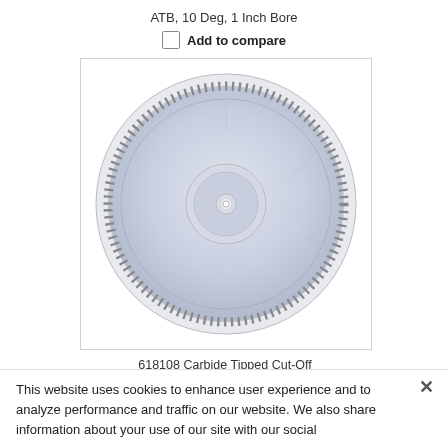ATB, 10 Deg, 1 Inch Bore
Add to compare
[Figure (photo): Circular saw blade - 618108 Carbide Tipped Cut-Off and Crosscut 18 Inch Dia x 108T, shown from front view with many fine teeth around the perimeter]
618108 Carbide Tipped Cut-Off and Crosscut 18 Inch Dia x 108T
This website uses cookies to enhance user experience and to analyze performance and traffic on our website. We also share information about your use of our site with our social